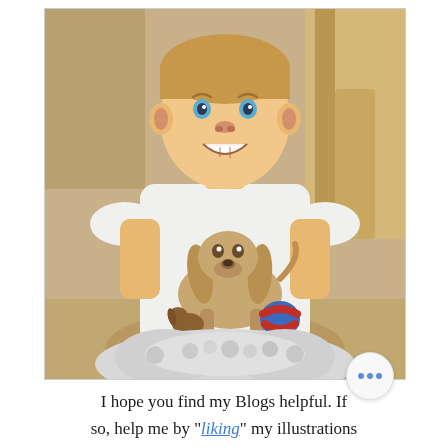[Figure (photo): A smiling young boy wearing a white t-shirt with an illustrated dachshund dog graphic on it, holding a gray fluffy stuffed animal toy. Background is a warm indoor setting.]
I hope you find my Blogs helpful. If so, help me by "liking" my illustrations